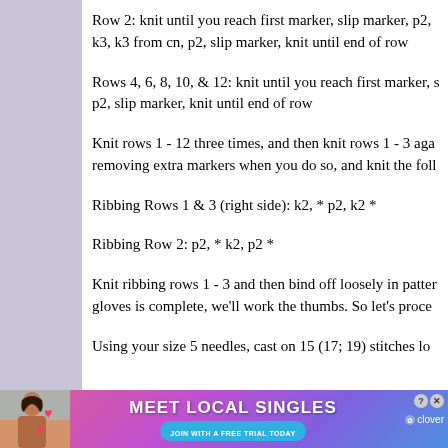Row 2: knit until you reach first marker, slip marker, p2, k3, k3 from cn, p2, slip marker, knit until end of row
Rows 4, 6, 8, 10, & 12: knit until you reach first marker, s p2, slip marker, knit until end of row
Knit rows 1 - 12 three times, and then knit rows 1 - 3 aga removing extra markers when you do so, and knit the foll
Ribbing Rows 1 & 3 (right side): k2, * p2, k2 *
Ribbing Row 2: p2, * k2, p2 *
Knit ribbing rows 1 - 3 and then bind off loosely in patter gloves is complete, we'll work the thumbs. So let's proce
Using your size 5 needles, cast on 15 (17; 19) stitches lo
[Figure (screenshot): Advertisement banner: Meet Local Singles - Join with a free trial today - Clover dating app]